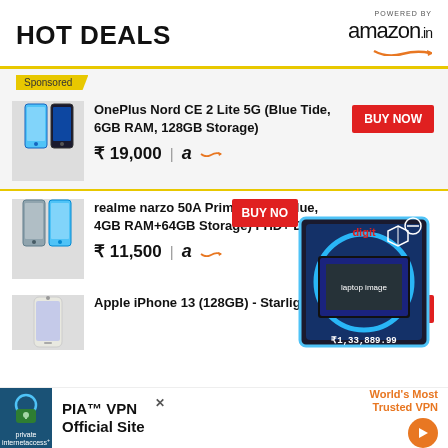HOT DEALS
[Figure (logo): POWERED BY amazon.in logo with orange arrow]
Sponsored
[Figure (photo): OnePlus Nord CE 2 Lite 5G smartphone image]
OnePlus Nord CE 2 Lite 5G (Blue Tide, 6GB RAM, 128GB Storage)
₹ 19,000 | amazon logo
BUY NOW
[Figure (photo): realme narzo 50A Prime smartphone image]
realme narzo 50A Prime (Flash Blue, 4GB RAM+64GB Storage) FHD+ Display
₹ 11,500 | amazon logo
BUY NOW
[Figure (photo): Digit gift box overlay with laptop image and price ₹1,33,889.99]
[Figure (photo): Apple iPhone 13 smartphone image]
Apple iPhone 13 (128GB) - Starlight
BUY NOW
[Figure (photo): PIA VPN advertisement banner - World's Most Trusted VPN]